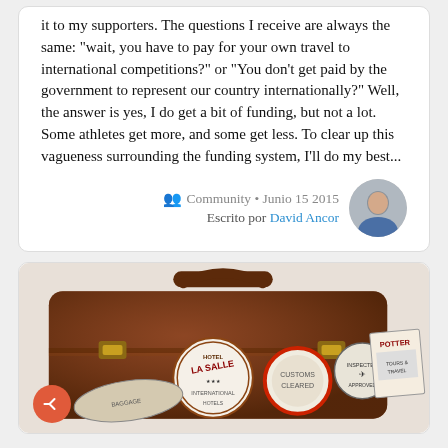it to my supporters. The questions I receive are always the same: "wait, you have to pay for your own travel to international competitions?" or "You don't get paid by the government to represent our country internationally?" Well, the answer is yes, I do get a bit of funding, but not a lot. Some athletes get more, and some get less. To clear up this vagueness surrounding the funding system, I'll do my best...
Community • Junio 15 2015
Escrito por David Ancor
[Figure (photo): An old brown leather suitcase covered with vintage travel stickers including Hotel La Salle and Potter stickers, photographed against a white background]